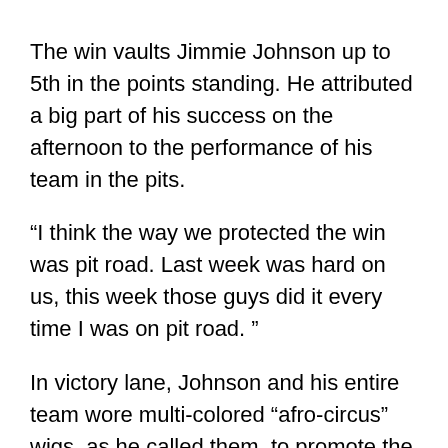The win vaults Jimmie Johnson up to 5th in the points standing. He attributed a big part of his success on the afternoon to the performance of his team in the pits.
“I think the way we protected the win was pit road. Last week was hard on us, this week those guys did it every time I was on pit road. ”
In victory lane, Johnson and his entire team wore multi-colored “afro-circus” wigs, as he called them, to promote the movie, “Madagascar 3.”
Jeff Gordon arguably had the strongest car of the day, but problems with his left rear tire led to a disappointing 13th place finish.